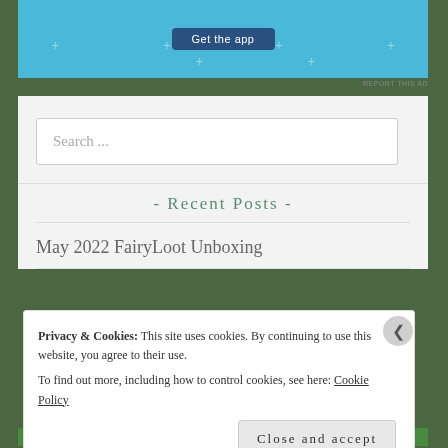[Figure (other): Blue advertisement banner with 'Get the app' button and decorative plus signs]
REPORT THIS AD
Search ...
- Recent Posts -
May 2022 FairyLoot Unboxing
Privacy & Cookies: This site uses cookies. By continuing to use this website, you agree to their use.
To find out more, including how to control cookies, see here: Cookie Policy
Close and accept